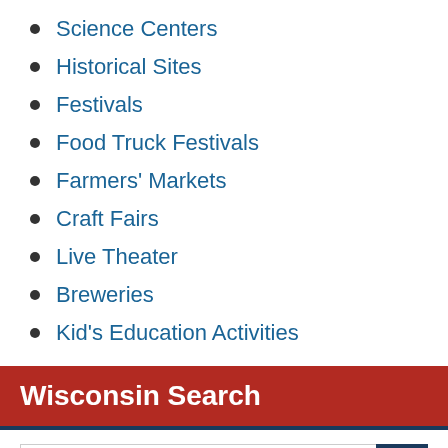Science Centers
Historical Sites
Festivals
Food Truck Festivals
Farmers' Markets
Craft Fairs
Live Theater
Breweries
Kid's Education Activities
Wisconsin Search